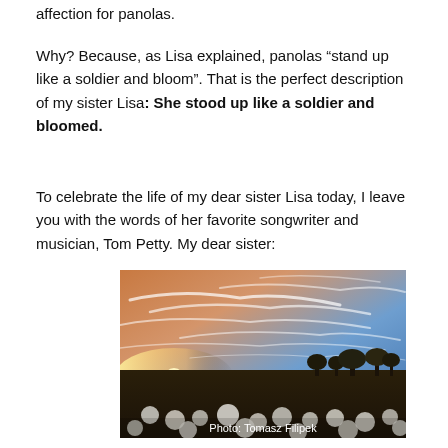affection for panolas.
Why? Because, as Lisa explained, panolas “stand up like a soldier and bloom”. That is the perfect description of my sister Lisa: She stood up like a soldier and bloomed.
To celebrate the life of my dear sister Lisa today, I leave you with the words of her favorite songwriter and musician, Tom Petty. My dear sister:
[Figure (photo): A wide-angle photograph of a cotton field at sunset with dramatic cirrus clouds in a blue sky, sun near the horizon on the left, trees in the background, and white cotton bolls in the foreground. Photo credit: Tomasz Filipek.]